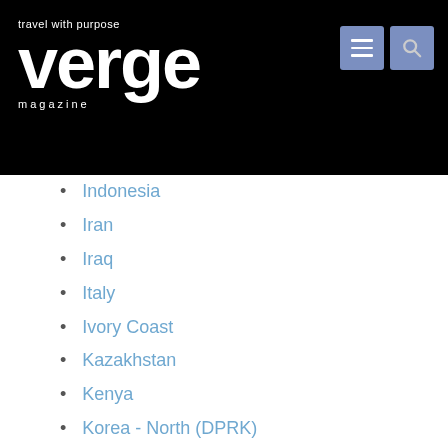travel with purpose verge magazine
Indonesia
Iran
Iraq
Italy
Ivory Coast
Kazakhstan
Kenya
Korea - North (DPRK)
Kyrgyzstan
Laos
Lebanon
Lesotho
Liberia
Luxembourg
Macedonia (FYR)
Madagascar
Malawi
Mali